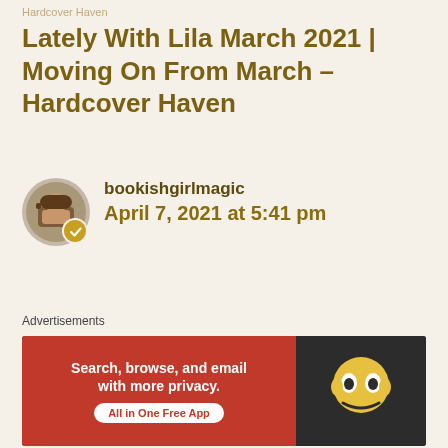Hardcover Haven
Lately With Lila March 2021 | Moving On From March – Hardcover Haven
bookishgirlmagic
April 7, 2021 at 5:41 pm
Reply to this comment
★ [rating]
Reply
Leave a comment
Advertisements
Search, browse, and email with more privacy. All in One Free App